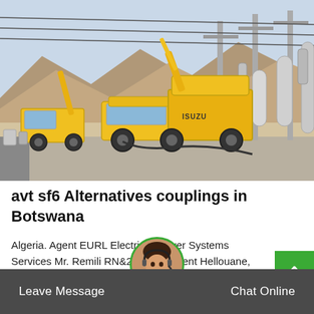[Figure (photo): Yellow Isuzu utility truck and crane vehicles at an electrical substation with large transformer insulators and overhead power lines in a desert/arid setting.]
avt sf6 Alternatives couplings in Botswana
Algeria. Agent EURL Electrical Power Systems Services Mr. Remili RN&25, lotissement Hellouane, DZ - 06010 Ouzellagu Bejaia Tel.: +213-6582-7279-